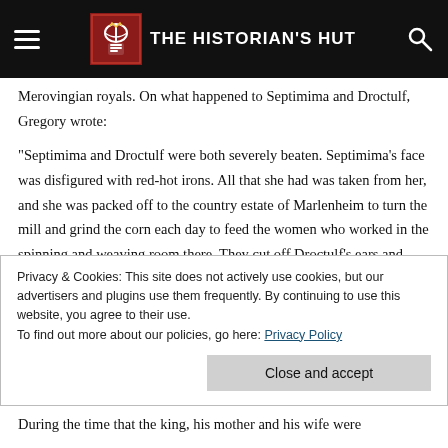THE HISTORIAN'S HUT
Merovingian royals. On what happened to Septimima and Droctulf, Gregory wrote:
“Septimima and Droctulf were both severely beaten. Septimima’s face was disfigured with red-hot irons. All that she had was taken from her, and she was packed off to the country estate of Marlenheim to turn the mill and grind the corn each day to feed the women who worked in the spinning and weaving room there. They cut off Droctulf’s ears and hair, and he was sent to labour in the vineyards. A few days
Privacy & Cookies: This site does not actively use cookies, but our advertisers and plugins use them frequently. By continuing to use this website, you agree to their use.
To find out more about our policies, go here: Privacy Policy
During the time that the king, his mother and his wife were